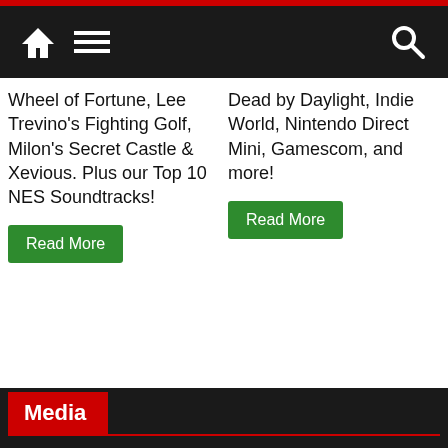Navigation bar with home, menu, and search icons
Wheel of Fortune, Lee Trevino's Fighting Golf, Milon's Secret Castle & Xevious. Plus our Top 10 NES Soundtracks!
Read More
Dead by Daylight, Indie World, Nintendo Direct Mini, Gamescom, and more!
Read More
Media
[Figure (photo): Thumbnail of 'The Video Game Update' newspaper]
[Figure (photo): Thumbnail of After Burner game logo on black background]